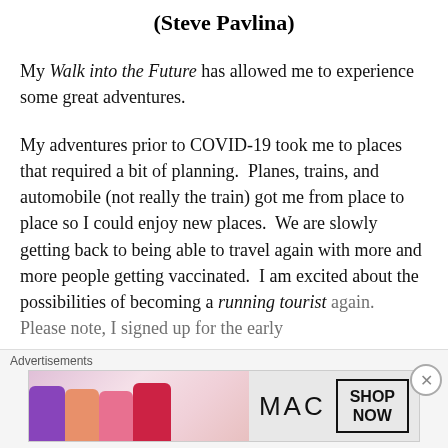(Steve Pavlina)
My Walk into the Future has allowed me to experience some great adventures.
My adventures prior to COVID-19 took me to places that required a bit of planning.  Planes, trains, and automobile (not really the train) got me from place to place so I could enjoy new places.  We are slowly getting back to being able to travel again with more and more people getting vaccinated.  I am excited about the possibilities of becoming a running tourist again.  Please note, I signed up for the early
Advertisements
[Figure (photo): Advertisement banner for MAC cosmetics showing lipsticks in purple, peach, pink, and red colors alongside MAC logo and SHOP NOW button]